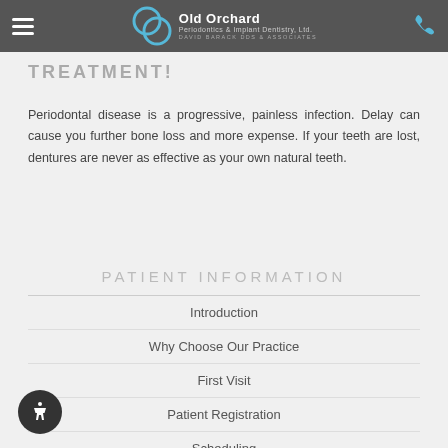Old Orchard Periodontics & Implant Dentistry, Ltd. DAVID BARACK DDS & ASSOCIATES
TREATMENT!
Periodontal disease is a progressive, painless infection. Delay can cause you further bone loss and more expense. If your teeth are lost, dentures are never as effective as your own natural teeth.
PATIENT INFORMATION
Introduction
Why Choose Our Practice
First Visit
Patient Registration
Scheduling